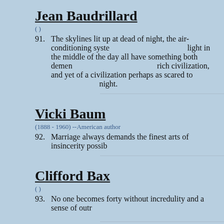Jean Baudrillard
( )
91. The skylines lit up at dead of night, the air-conditioning systems turned to cold in the middle of the day all have something both demented and admirable about a rich civilization, and yet of a civilization perhaps as scared to stop as it is to night.
Vicki Baum
(1888 - 1960) --American author
92. Marriage always demands the finest arts of insincerity possible between two people.
Clifford Bax
( )
93. No one becomes forty without incredulity and a sense of outrage.